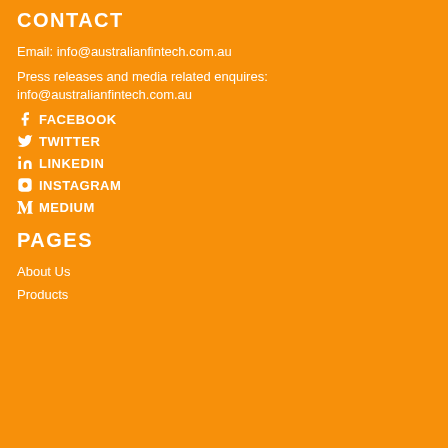CONTACT
Email: info@australianfintech.com.au
Press releases and media related enquires:
info@australianfintech.com.au
FACEBOOK
TWITTER
LINKEDIN
INSTAGRAM
MEDIUM
PAGES
About Us
Products